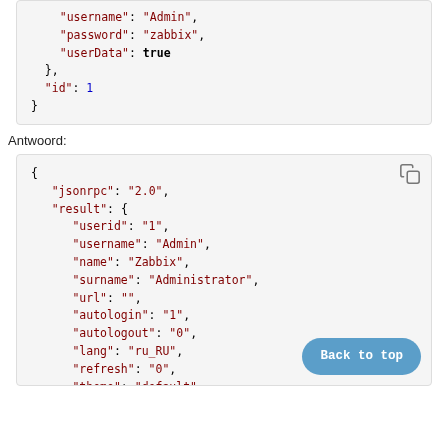"username": "Admin",
        "password": "zabbix",
        "userData": true
    },
    "id": 1
}
Antwoord:
{
    "jsonrpc": "2.0",
    "result": {
        "userid": "1",
        "username": "Admin",
        "name": "Zabbix",
        "surname": "Administrator",
        "url": "",
        "autologin": "1",
        "autologout": "0",
        "lang": "ru_RU",
        "refresh": "0",
        "theme": "default",
        "attempt_failed": "0",
        "attempt_ip": "127.0.0.1",
        "attempt_clock": "1355919038",
        "rows_per_page": "50",